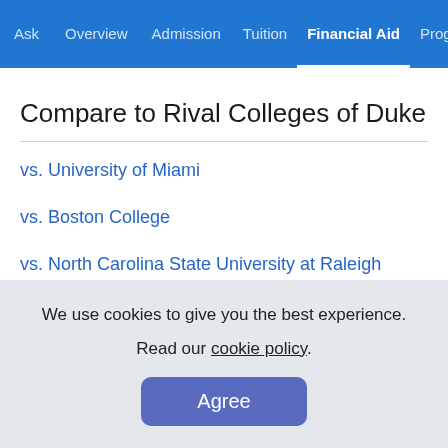Ask  Overview  Admission  Tuition  Financial Aid  Prog
Compare to Rival Colleges of Duke
vs. University of Miami
vs. Boston College
vs. North Carolina State University at Raleigh
We use cookies to give you the best experience. Read our cookie policy. Agree